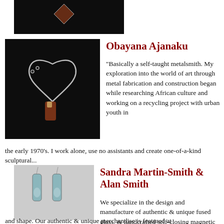[Figure (photo): Partial view of a dark background jewelry photo at the top of the page]
[Figure (photo): Silver heart-shaped necklace with red stone pendant on dark background]
Obayana Ajanaku
"Basically a self-taught metalsmith. My exploration into the world of art through metal fabrication and construction began while researching African culture and working on a recycling project with urban youth in the early 1970's. I work alone, use no assistants and create one-of-a-kind sculptural...
[Figure (photo): Pair of fused glass drop earrings with iridescent blue-green color on light background]
Sandra Martin-Smith & Alan Smith
We specialize in the design and manufacture of authentic & unique fused glass, & handcrafted self-closing magnetic clasp crystal bracelets with emphasis on originality, color, texture, and shape. Our authentic & unique merchandise is featured at...